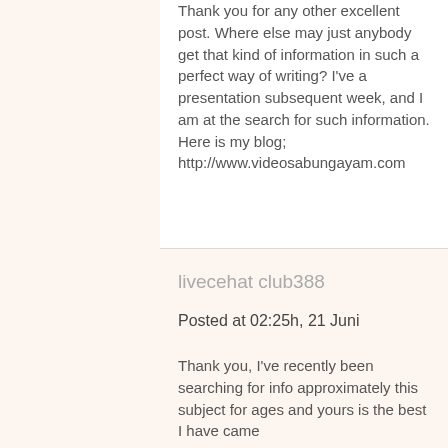Thank you for any other excellent post. Where else may just anybody get that kind of information in such a perfect way of writing? I've a presentation subsequent week, and I am at the search for such information. Here is my blog; http://www.videosabungayam.com
livecehat club388
Posted at 02:25h, 21 Juni
Thank you, I've recently been searching for info approximately this subject for ages and yours is the best I have came